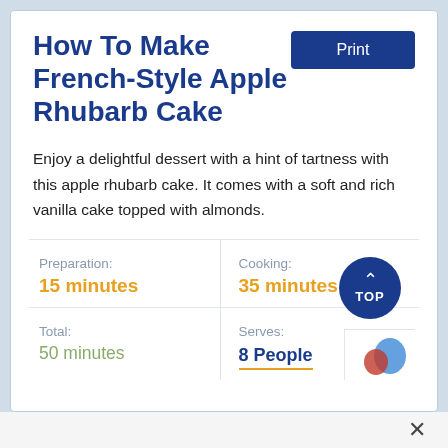How To Make French-Style Apple Rhubarb Cake
Enjoy a delightful dessert with a hint of tartness with this apple rhubarb cake. It comes with a soft and rich vanilla cake topped with almonds.
|  |  |
| --- | --- |
| Preparation: | Cooking: |
| 15 minutes | 35 minutes |
| Total: | Serves: |
| 50 minutes | 8 People |